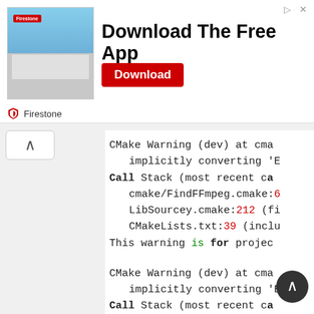[Figure (other): Firestone advertisement banner with store photo, 'Download The Free App' headline, red Download button, and Firestone logo branding.]
CMake Warning (dev) at cma
   implicitly converting 'E
Call Stack (most recent ca
   cmake/FindFFmpeg.cmake:6
   LibSourcey.cmake:212 (fi
   CMakeLists.txt:39 (inclu
This warning is for projec

CMake Warning (dev) at cma
   implicitly converting 'E
Call Stack (most recent ca
   LibSourcey.cmake:212 (fi
   CMakeLists.txt:39 (inclu
This warning is for projec

- Linking dependency libu
- Linking dependency mini
- Linking dependency http